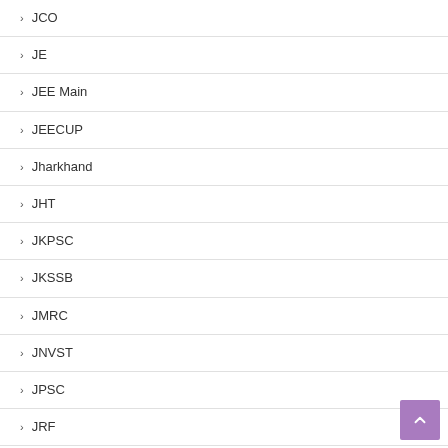JCO
JE
JEE Main
JEECUP
Jharkhand
JHT
JKPSC
JKSSB
JMRC
JNVST
JPSC
JRF
JSLPS
JSSC
JTO